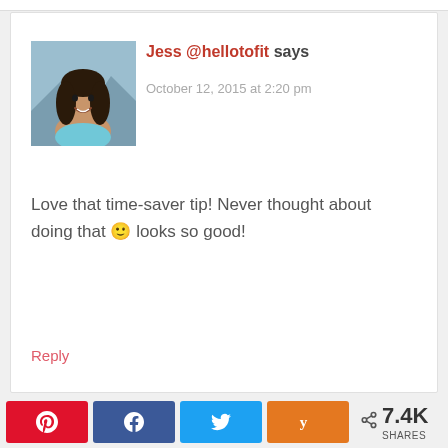[Figure (photo): Profile photo of a young woman with long dark hair, smiling, outdoors with mountains in background]
Jess @hellotofit says
October 12, 2015 at 2:20 pm
Love that time-saver tip! Never thought about doing that 🙂 looks so good!
Reply
[Figure (infographic): Social share bar with Pinterest, Facebook, Twitter, Yummly buttons and 7.4K shares count]